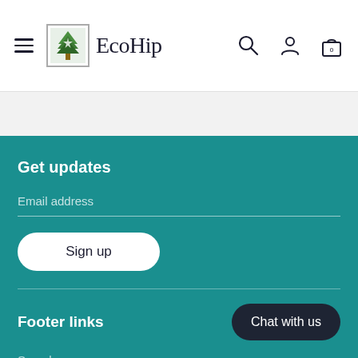EcoHip — navigation header with hamburger menu, logo, search, account, and cart icons
Get updates
Email address
Sign up
Footer links
Chat with us
Search